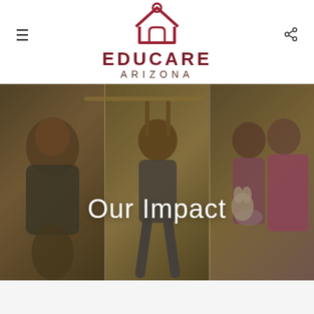[Figure (logo): Educare Arizona logo with house/school icon above text]
[Figure (photo): Three-panel hero image showing children at an early education center. Left panel: young child in hoodie smiling. Center panel: child hanging from a bar outdoors. Right panel: two girls, one holding a stuffed rabbit. Warm olive-toned overlay covers the composite image.]
Our Impact